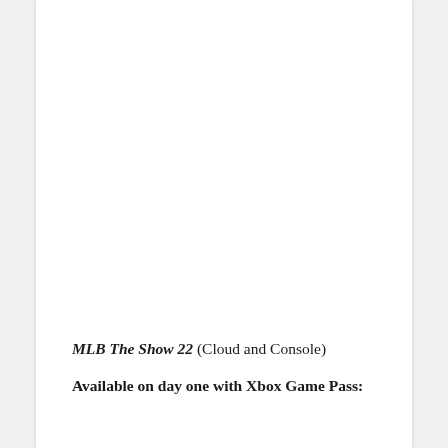MLB The Show 22 (Cloud and Console) Available on day one with Xbox Game Pass: